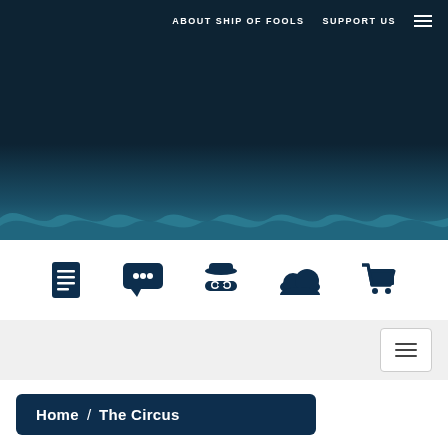ABOUT SHIP OF FOOLS   SUPPORT US
[Figure (illustration): Dark navy hero banner with stylized wave pattern at the bottom, representing the Ship of Fools website header image]
[Figure (infographic): Five icon navigation items: document/list icon, speech bubble with ellipsis, spy/incognito figure with hat and glasses, cloud icon, shopping cart icon]
[Figure (other): Filter/hamburger button in a light grey bar on the right side]
Home / The Circus